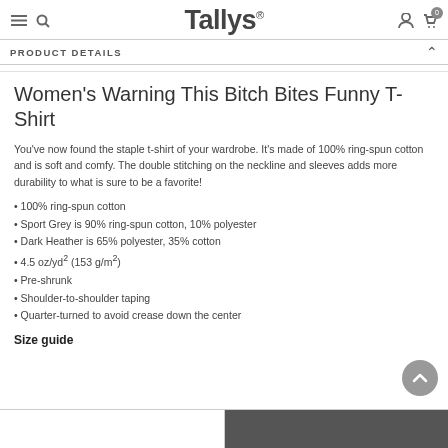Tallys®
PRODUCT DETAILS
Women's Warning This Bitch Bites Funny T-Shirt
You've now found the staple t-shirt of your wardrobe. It's made of 100% ring-spun cotton and is soft and comfy. The double stitching on the neckline and sleeves adds more durability to what is sure to be a favorite!
100% ring-spun cotton
Sport Grey is 90% ring-spun cotton, 10% polyester
Dark Heather is 65% polyester, 35% cotton
4.5 oz/yd² (153 g/m²)
Pre-shrunk
Shoulder-to-shoulder taping
Quarter-turned to avoid crease down the center
Size guide